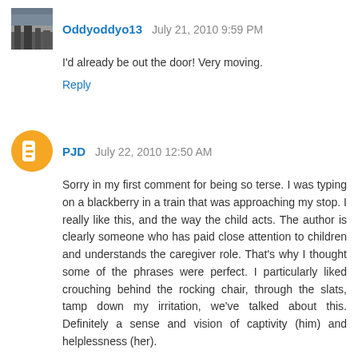Oddyoddyo13  July 21, 2010 9:59 PM
I'd already be out the door! Very moving.
Reply
PJD  July 22, 2010 12:50 AM
Sorry in my first comment for being so terse. I was typing on a blackberry in a train that was approaching my stop. I really like this, and the way the child acts. The author is clearly someone who has paid close attention to children and understands the caregiver role. That's why I thought some of the phrases were perfect. I particularly liked crouching behind the rocking chair, through the slats, tamp down my irritation, we've talked about this. Definitely a sense and vision of captivity (him) and helplessness (her).
This is really good flash because it gradually develops the tension and then hits wham with the kicker at the end, revealing what's really going on.
I still wish the father had come in earlier, though. :-)